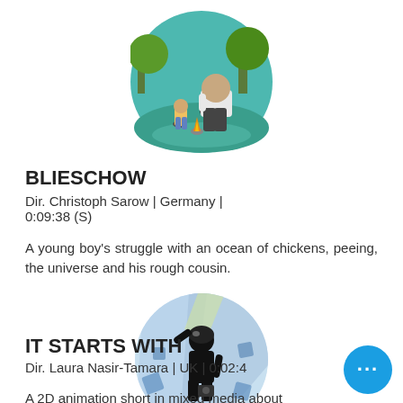[Figure (illustration): Circular cropped illustration showing an animated scene with a large heavy-set man, a small child, and trees in a teal/green environment]
BLIESCHOW
Dir. Christoph Sarow | Germany | 0:09:38 (S)
A young boy's struggle with an ocean of chickens, peeing, the universe and his rough cousin.
[Figure (illustration): Circular cropped illustration showing a dark silhouetted figure with arm raised against a colorful abstract background with blue geometric shapes]
IT STARTS WITH
Dir. Laura Nasir-Tamara | UK | 0:02:4
A 2D animation short in mixed media about